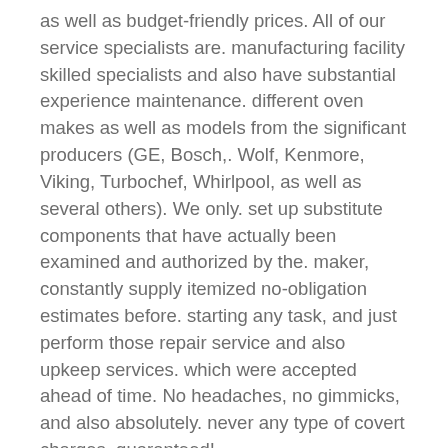as well as budget-friendly prices. All of our service specialists are. manufacturing facility skilled specialists and also have substantial experience maintenance. different oven makes as well as models from the significant producers (GE, Bosch,. Wolf, Kenmore, Viking, Turbochef, Whirlpool, as well as several others). We only. set up substitute components that have actually been examined and authorized by the. maker, constantly supply itemized no-obligation estimates before. starting any task, and just perform those repair service and also upkeep services. which were accepted ahead of time. No headaches, no gimmicks, and also absolutely. never any type of covert charges–guaranteed!
Call Waterfront Device Fixing if you need help with any one of these usual. stove concerns:.
Possible gas leak (bear in mind to likewise call the Gas